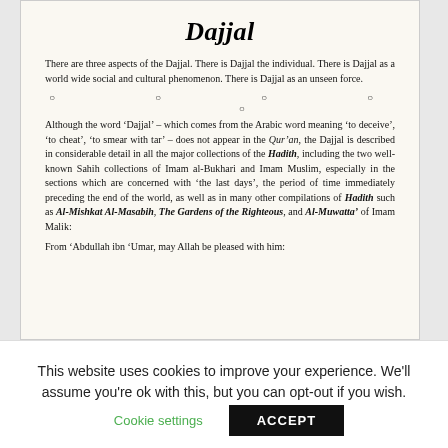Dajjal
There are three aspects of the Dajjal. There is Dajjal the individual. There is Dajjal as a world wide social and cultural phenomenon. There is Dajjal as an unseen force.
Although the word ‘Dajjal’ – which comes from the Arabic word meaning ‘to deceive’, ‘to cheat’, ‘to smear with tar’ – does not appear in the Qur’an, the Dajjal is described in considerable detail in all the major collections of the Hadith, including the two well-known Sahih collections of Imam al-Bukhari and Imam Muslim, especially in the sections which are concerned with ‘the last days’, the period of time immediately preceding the end of the world, as well as in many other compilations of Hadith such as Al-Mishkat Al-Masabih, The Gardens of the Righteous, and Al-Muwatta’ of Imam Malik:
From ‘Abdullah ibn ‘Umar, may Allah be pleased with him:
This website uses cookies to improve your experience. We’ll assume you’re ok with this, but you can opt-out if you wish.
Cookie settings   ACCEPT